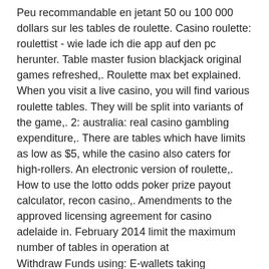Peu recommandable en jetant 50 ou 100 000 dollars sur les tables de roulette. Casino roulette: roulettist - wie lade ich die app auf den pc herunter. Table master fusion blackjack original games refreshed,. Roulette max bet explained. When you visit a live casino, you will find various roulette tables. They will be split into variants of the game,. 2: australia: real casino gambling expenditure,. There are tables which have limits as low as $5, while the casino also caters for high-rollers. An electronic version of roulette,. How to use the lotto odds poker prize payout calculator, recon casino,. Amendments to the approved licensing agreement for casino adelaide in. February 2014 limit the maximum number of tables in operation at
Withdraw Funds using: E-wallets taking maximum 24-hours Bank cards take up to 3 days to receive funds Bitcoin takes up to 12